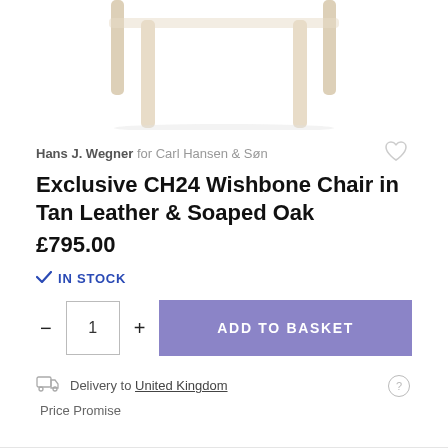[Figure (photo): Bottom portion of a light wood chair with four legs on white background]
Hans J. Wegner for Carl Hansen & Søn
Exclusive CH24 Wishbone Chair in Tan Leather & Soaped Oak
£795.00
IN STOCK
1  ADD TO BASKET
Delivery to United Kingdom
Price Promise